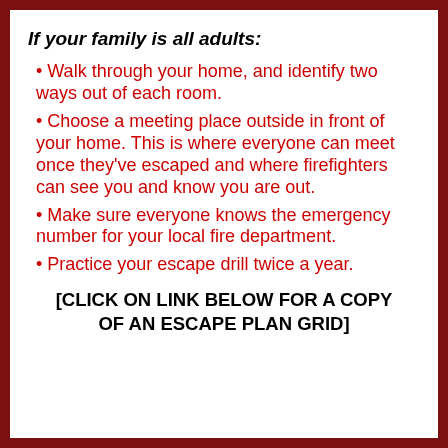If your family is all adults:
Walk through your home, and identify two ways out of each room.
Choose a meeting place outside in front of your home. This is where everyone can meet once they’ve escaped and where firefighters can see you and know you are out.
Make sure everyone knows the emergency number for your local fire department.
Practice your escape drill twice a year.
[CLICK ON LINK BELOW FOR A COPY OF AN ESCAPE PLAN GRID]